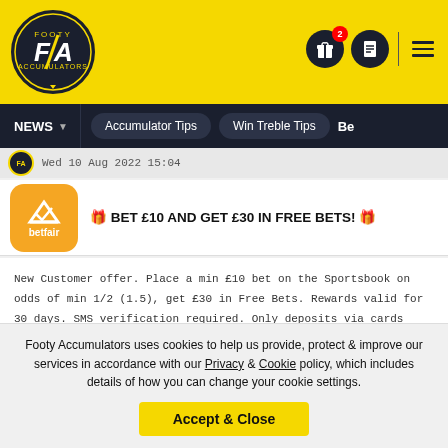[Figure (logo): Footy Accumulators logo - circular badge with FA initials]
NEWS | Accumulator Tips | Win Treble Tips | Be...
Wed 10 Aug 2022 15:04
[Figure (logo): Betfair orange app icon logo]
🎁 BET £10 AND GET £30 IN FREE BETS! 🎁
New Customer offer. Place a min £10 bet on the Sportsbook on odds of min 1/2 (1.5), get £30 in Free Bets. Rewards valid for 30 days. SMS verification required. Only deposits via cards will qualify. T&Cs apply. Please Gamble Responsibly
Claim Bonus
Footy Accumulators uses cookies to help us provide, protect & improve our services in accordance with our Privacy & Cookie policy, which includes details of how you can change your cookie settings.
Accept & Close